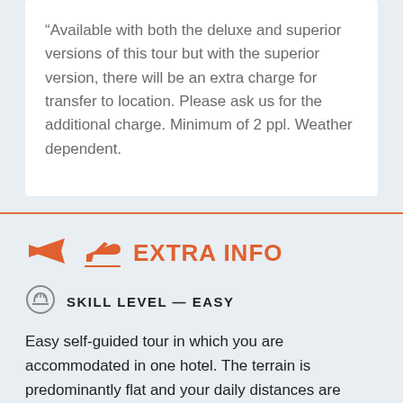“Available with both the deluxe and superior versions of this tour but with the superior version, there will be an extra charge for transfer to location. Please ask us for the additional charge. Minimum of 2 ppl. Weather dependent.
EXTRA INFO
SKILL LEVEL — EASY
Easy self-guided tour in which you are accommodated in one hotel. The terrain is predominantly flat and your daily distances are adjustable. The excursions suggested in the roadbook are on cycle paths and rural routes with little traffic recommended for cycling by the label “Pays des Chateaux”. Electric bicycles available